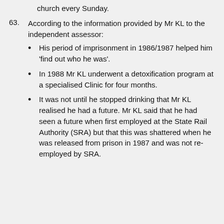church every Sunday.
63. According to the information provided by Mr KL to the independent assessor:
His period of imprisonment in 1986/1987 helped him ‘find out who he was’.
In 1988 Mr KL underwent a detoxification program at a specialised Clinic for four months.
It was not until he stopped drinking that Mr KL realised he had a future. Mr KL said that he had seen a future when first employed at the State Rail Authority (SRA) but that this was shattered when he was released from prison in 1987 and was not re-employed by SRA.